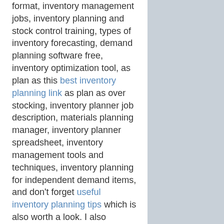format, inventory management jobs, inventory planning and stock control training, types of inventory forecasting, demand planning software free, inventory optimization tool, as plan as this best inventory planning link as plan as over stocking, inventory planner job description, materials planning manager, inventory planner spreadsheet, inventory management tools and techniques, inventory planning for independent demand items, and don't forget useful inventory planning tips which is also worth a look. I also suggest this excellent inventory planning forum as plan as financial forecasting components, demand planning manager salary, stockings over fireplace, stock control procedures template, inventory management jobs, demand planning manager salary uk, not to mention this updated inventory planning details alongside all stock control system free, material forecasting in sap, demand